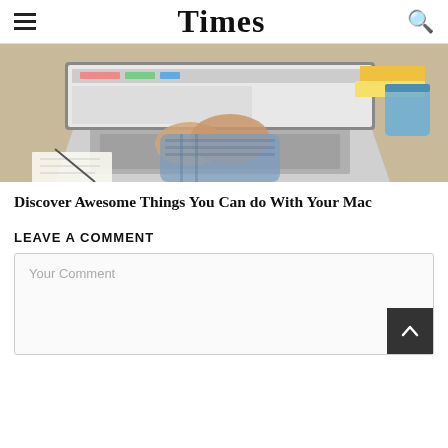Times
[Figure (photo): Person typing on a MacBook laptop at a wooden desk, with books and a mug in the background. Hands wearing a blue plaid shirt visible on keyboard.]
Discover Awesome Things You Can do With Your Mac
LEAVE A COMMENT
Your Comment